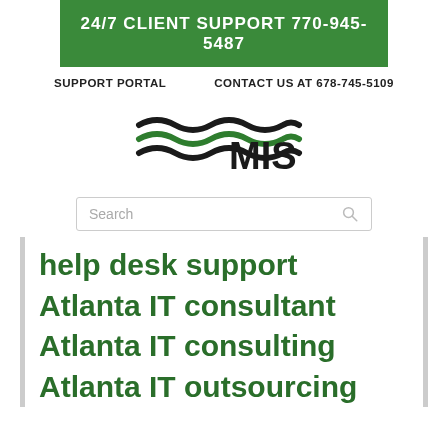24/7 CLIENT SUPPORT 770-945-5487
SUPPORT PORTAL    CONTACT US AT 678-745-5109
[Figure (logo): MIS company logo with wave/stripe graphic in green and black, followed by text 'MIS']
Search
help desk support Atlanta IT consultant Atlanta IT consulting Atlanta IT outsourcing Atlanta IT services IT services Alpharetta IT